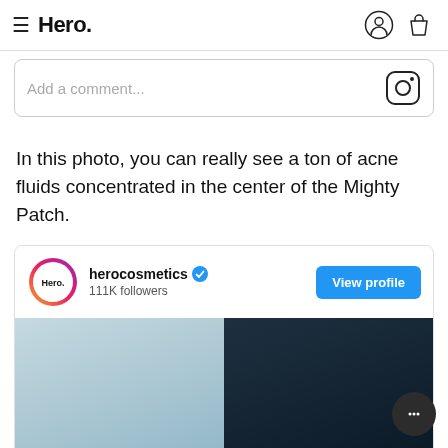Hero. (navigation bar with hamburger menu, user icon, bag icon)
[Figure (screenshot): Comment input box with Instagram camera icon on right]
In this photo, you can really see a ton of acne fluids concentrated in the center of the Mighty Patch.
[Figure (screenshot): herocosmetics Instagram profile card with verified badge, 111K followers, View profile button, and partial Instagram photo below (blue-grey and dark background)]